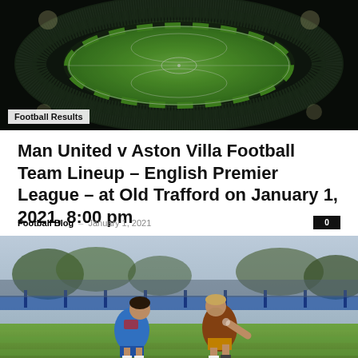[Figure (photo): Aerial night view of a large football stadium filled with spectators, green pitch illuminated]
Football Results
Man United v Aston Villa Football Team Lineup – English Premier League – at Old Trafford on January 1, 2021, 8:00 pm
Football Blog  –  January 1, 2021  0
[Figure (photo): Two football players in action during a match, one in blue kit and one in brown/orange kit, with crowd in background]